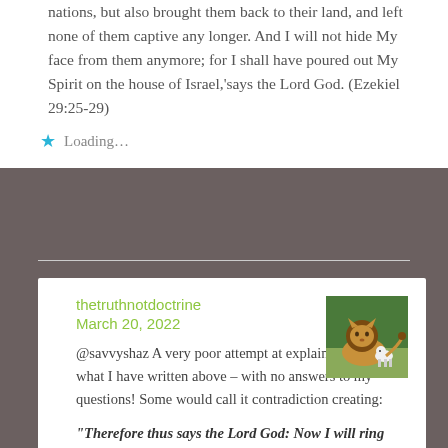nations, but also brought them back to their land, and left none of them captive any longer. And I will not hide My face from them anymore; for I shall have poured out My Spirit on the house of Israel,'says the Lord God. (Ezekiel 29:25-29)
Loading...
thetruthnotdoctrine
March 20, 2022
@savvyshaz A very poor attempt at explaining away what I have written above – with no answers to my questions! Some would call it contradiction creating:
“Therefore thus says the Lord God: Now I will ring back the captives of Jacob, and have mercy on the whole house of Israel, and I will be